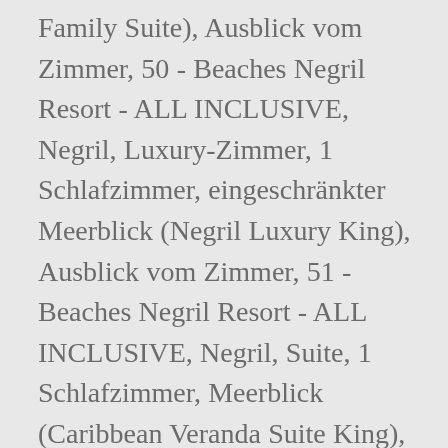Family Suite), Ausblick vom Zimmer, 50 - Beaches Negril Resort - ALL INCLUSIVE, Negril, Luxury-Zimmer, 1 Schlafzimmer, eingeschränkter Meerblick (Negril Luxury King), Ausblick vom Zimmer, 51 - Beaches Negril Resort - ALL INCLUSIVE, Negril, Suite, 1 Schlafzimmer, Meerblick (Caribbean Veranda Suite King), Ausblick vom Zimmer, 52 - Beaches Negril Resort - ALL INCLUSIVE, Negril, Suite, 1 Schlafzimmer, Meerblick (Caribbean Veranda Suite King), Badezimmer, 53 - Beaches Negril Resort - ALL INCLUSIVE, Negril, Junior-Suite, 2 Schlafzimmer, Meerblick (Tropical Junior Suite), Badezimmer, 54 - Beaches Negril Resort - ALL